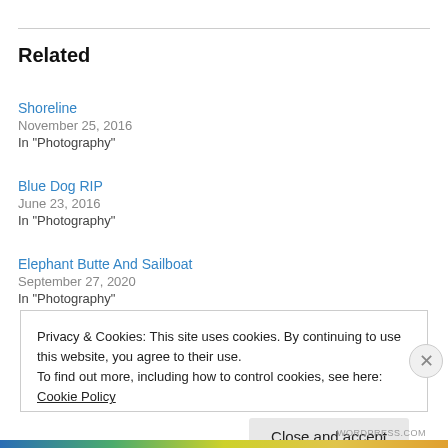Related
Shoreline
November 25, 2016
In "Photography"
Blue Dog RIP
June 23, 2016
In "Photography"
Elephant Butte And Sailboat
September 27, 2020
In "Photography"
Privacy & Cookies: This site uses cookies. By continuing to use this website, you agree to their use.
To find out more, including how to control cookies, see here: Cookie Policy